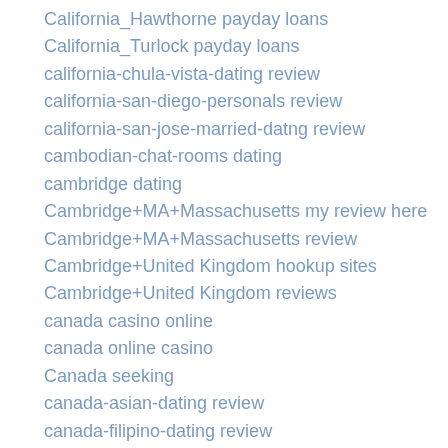California_Hawthorne payday loans
California_Turlock payday loans
california-chula-vista-dating review
california-san-diego-personals review
california-san-jose-married-datng review
cambodian-chat-rooms dating
cambridge dating
Cambridge+MA+Massachusetts my review here
Cambridge+MA+Massachusetts review
Cambridge+United Kingdom hookup sites
Cambridge+United Kingdom reviews
canada casino online
canada online casino
Canada seeking
canada-asian-dating review
canada-filipino-dating review
canada-interracial-dating review
canadian casinos online